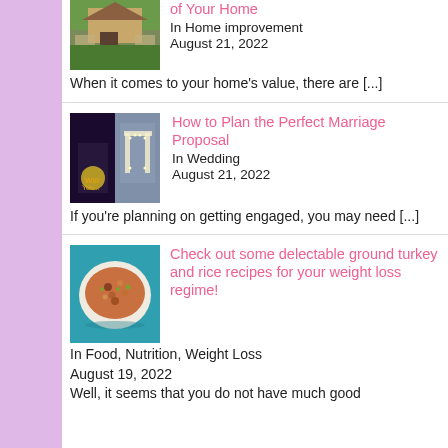[Figure (photo): Photo of a house exterior at night with pathway lighting]
of Your Home
In Home improvement
August 21, 2022
When it comes to your home's value, there are [...]
[Figure (photo): Two side-by-side photos of a wedding proposal setup with lights]
How to Plan the Perfect Marriage Proposal
In Wedding
August 21, 2022
If you're planning on getting engaged, you may need [...]
[Figure (photo): Photo of a bowl of ground turkey and rice dish]
Check out some delectable ground turkey and rice recipes for your weight loss regime!
In Food, Nutrition, Weight Loss
August 19, 2022
Well, it seems that you do not have much good [...]